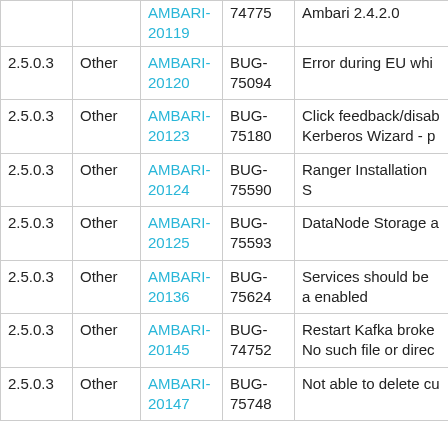| Version | Type | JIRA | BUG | Description |
| --- | --- | --- | --- | --- |
|  |  | AMBARI-20119 | 74775 | Ambari 2.4.2.0 |
| 2.5.0.3 | Other | AMBARI-20120 | BUG-75094 | Error during EU whi |
| 2.5.0.3 | Other | AMBARI-20123 | BUG-75180 | Click feedback/disab Kerberos Wizard - p |
| 2.5.0.3 | Other | AMBARI-20124 | BUG-75590 | Ranger Installation S |
| 2.5.0.3 | Other | AMBARI-20125 | BUG-75593 | DataNode Storage a |
| 2.5.0.3 | Other | AMBARI-20136 | BUG-75624 | Services should be a enabled |
| 2.5.0.3 | Other | AMBARI-20145 | BUG-74752 | Restart Kafka broke No such file or direc |
| 2.5.0.3 | Other | AMBARI-20147 | BUG-75748 | Not able to delete cu |